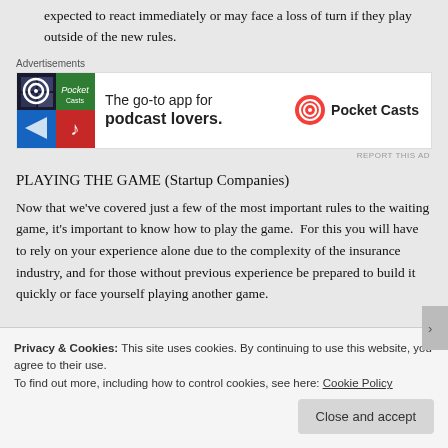The rules of the game may be changed at any time, and players are expected to react immediately or may face a loss of turn if they play outside of the new rules.
[Figure (other): Pocket Casts advertisement: 'The go-to app for podcast lovers.' with colorful app icon grid and Pocket Casts logo]
PLAYING THE GAME (Startup Companies)
Now that we've covered just a few of the most important rules to the waiting game, it's important to know how to play the game.  For this you will have to rely on your experience alone due to the complexity of the insurance industry, and for those without previous experience be prepared to build it quickly or face yourself playing another game.
Privacy & Cookies: This site uses cookies. By continuing to use this website, you agree to their use. To find out more, including how to control cookies, see here: Cookie Policy